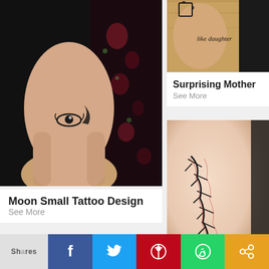[Figure (photo): Close-up photo of a wrist with a small moon/eye tattoo design, dark background with floral pattern]
Moon Small Tattoo Design
See More
[Figure (photo): Partial photo of a foot/ankle area]
[Figure (photo): Photo of a wrist with a cursive tattoo reading 'like daughter' and a puzzle piece tattoo]
Surprising Mother Tattoo
See More
[Figure (photo): Photo of an arm/body with a barbed wire style tattoo with red accents]
Shares  f  Twitter  Pinterest  WhatsApp  Share